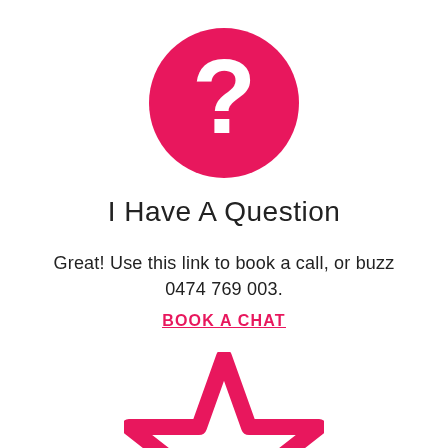[Figure (illustration): Pink filled circle with white question mark icon]
I Have A Question
Great! Use this link to book a call, or buzz 0474 769 003.
BOOK A CHAT
[Figure (illustration): Pink outlined star icon, partially visible at bottom of page]